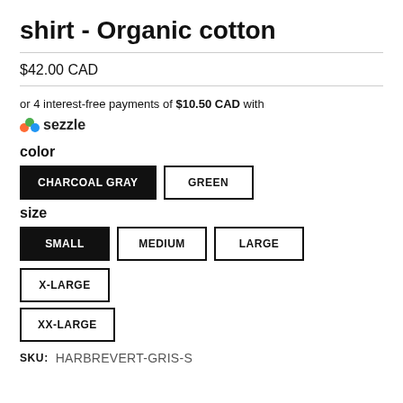shirt - Organic cotton
$42.00 CAD
or 4 interest-free payments of $10.50 CAD with 🌈 sezzle
color
CHARCOAL GRAY (selected)
GREEN
size
SMALL (selected)
MEDIUM
LARGE
X-LARGE
XX-LARGE
SKU: HARBREVERT-GRIS-S